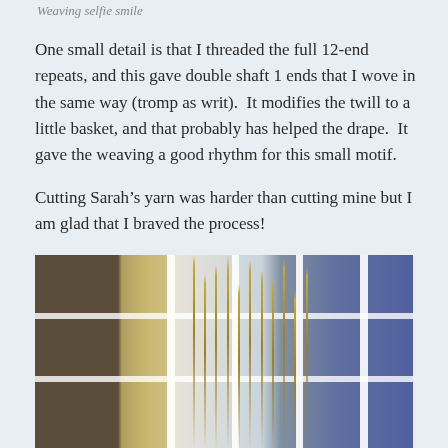Weaving selfie smile
One small detail is that I threaded the full 12-end repeats, and this gave double shaft 1 ends that I wove in the same way (tromp as writ).  It modifies the twill to a little basket, and that probably has helped the drape.  It gave the weaving a good rhythm for this small motif.
Cutting Sarah’s yarn was harder than cutting mine but I am glad that I braved the process!
[Figure (photo): Outdoor photo showing tall dry grass or reeds in front of a white multi-paned window, with stone or textured wall visible on the left side]